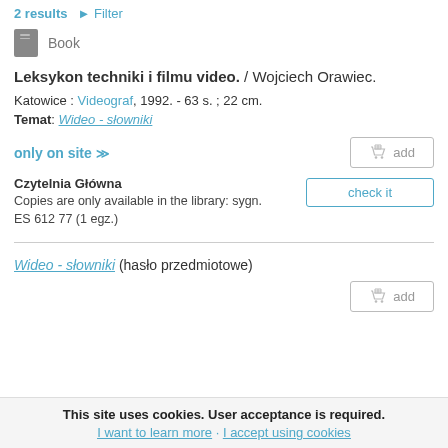2 results ▶ Filter
Book
Leksykon techniki i filmu video. / Wojciech Orawiec.
Katowice : Videograf, 1992. - 63 s. ; 22 cm.
Temat: Wideo - słowniki
only on site ⇑
add
Czytelnia Główna
Copies are only available in the library: sygn. ES 612 77 (1 egz.)
check it
Wideo - słowniki (hasło przedmiotowe)
add
This site uses cookies. User acceptance is required. I want to learn more · I accept using cookies